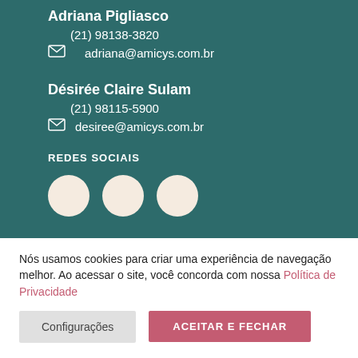Adriana Pigliasco
(21) 98138-3820
adriana@amicys.com.br
Désirée Claire Sulam
(21) 98115-5900
desiree@amicys.com.br
REDES SOCIAIS
[Figure (illustration): Three circular social media icon placeholders in light beige/cream color]
Nós usamos cookies para criar uma experiência de navegação melhor. Ao acessar o site, você concorda com nossa Política de Privacidade
Configurações
ACEITAR E FECHAR